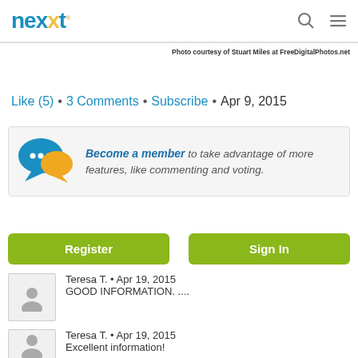nexxt
Photo courtesy of Stuart Miles at FreeDigitalPhotos.net
Like (5) • 3 Comments • Subscribe • Apr 9, 2015
Become a member to take advantage of more features, like commenting and voting.
Register
Sign In
Teresa T. • Apr 19, 2015
GOOD INFORMATION. ....
Teresa T. • Apr 19, 2015
Excellent information!